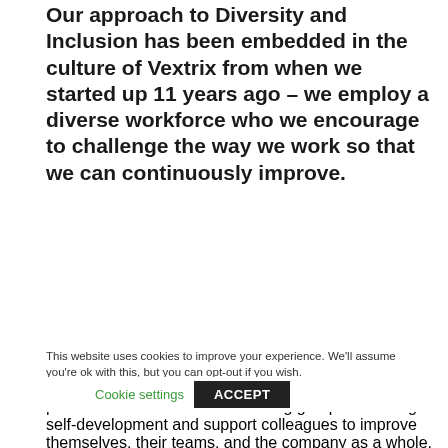Our approach to Diversity and Inclusion has been embedded in the culture of Vextrix from when we started up 11 years ago – we employ a diverse workforce who we encourage to challenge the way we work so that we can continuously improve.
Being in the advantageous position of employing such a diverse workforce means we have always encouraged the sharing of innovative ideas and best practice solutions. Smaller working groups encourage self-development and support colleagues to improve themselves, their teams, and the company as a whole.
But this has recently been challenged. From the outset of the lockdown, we announced it was 'business as usual'. We were to continue working on projects, albeit from a lockdown position, we were to provide the same high
This website uses cookies to improve your experience. We'll assume you're ok with this, but you can opt-out if you wish.
Cookie settings   ACCEPT